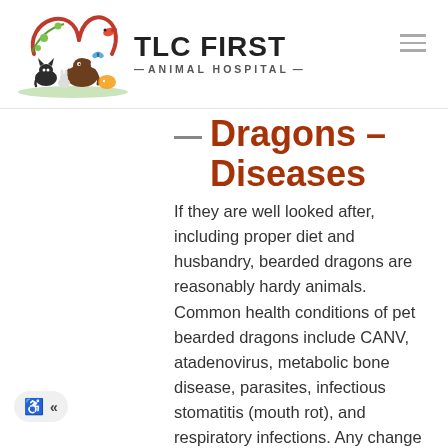[Figure (logo): TLC First Animal Hospital logo with illustrated animals (dog, cat, bird, fish, rabbit) under a red heart arc with green vine, next to bold text 'TLC FIRST — ANIMAL HOSPITAL —']
Dragons – Diseases
If they are well looked after, including proper diet and husbandry, bearded dragons are reasonably hardy animals. Common health conditions of pet bearded dragons include CANV, atadenovirus, metabolic bone disease, parasites, infectious stomatitis (mouth rot), and respiratory infections. Any change from normal is cause for concern and should be